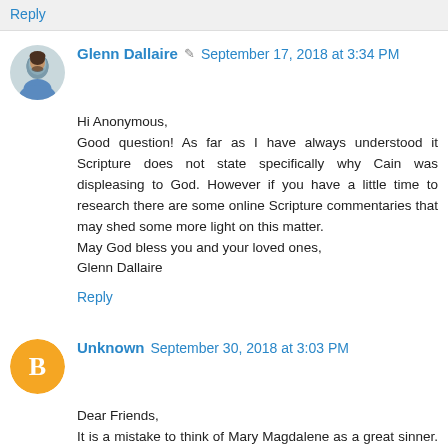Reply
Glenn Dallaire ✏ September 17, 2018 at 3:34 PM
Hi Anonymous,
Good question! As far as I have always understood it Scripture does not state specifically why Cain was displeasing to God. However if you have a little time to research there are some online Scripture commentaries that may shed some more light on this matter.
May God bless you and your loved ones,
Glenn Dallaire
Reply
Unknown September 30, 2018 at 3:03 PM
Dear Friends,
It is a mistake to think of Mary Magdalene as a great sinner. She was healed by Jesus of seven demons. Illnesses at that time were often couched in terms of demons. She was